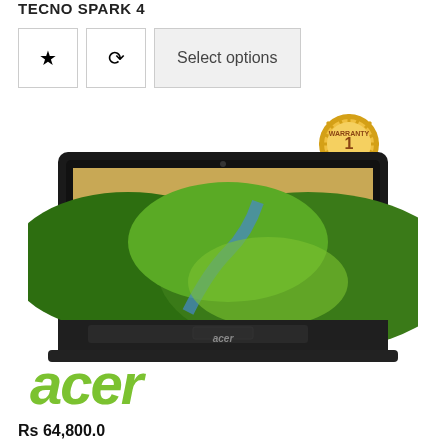TECNO SPARK 4
[Figure (screenshot): Two icon buttons (star/wishlist and compare) and a 'Select options' button]
[Figure (photo): Acer laptop with green landscape wallpaper on screen, with a 1 Year Warranty badge in top right, and the green Acer logo below the laptop]
Rs 64,800.0